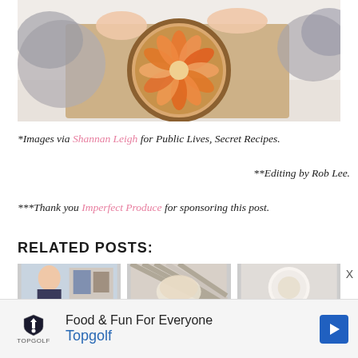[Figure (photo): Person holding a round fruit galette/tart on a baking sheet, with grey kitchen towels on the sides, white marble surface]
*Images via Shannan Leigh for Public Lives, Secret Recipes.
**Editing by Rob Lee.
***Thank you Imperfect Produce for sponsoring this post.
RELATED POSTS:
[Figure (photo): Three thumbnail images for related posts]
[Figure (other): Advertisement banner: Food & Fun For Everyone - Topgolf]